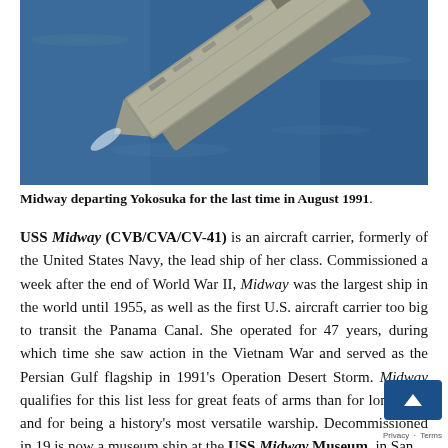[Figure (photo): Aerial photograph of USS Midway aircraft carrier departing Yokosuka, viewed from above-rear, surrounded by blue ocean water]
Midway departing Yokosuka for the last time in August 1991.
USS Midway (CVB/CVA/CV-41) is an aircraft carrier, formerly of the United States Navy, the lead ship of her class. Commissioned a week after the end of World War II, Midway was the largest ship in the world until 1955, as well as the first U.S. aircraft carrier too big to transit the Panama Canal. She operated for 47 years, during which time she saw action in the Vietnam War and served as the Persian Gulf flagship in 1991's Operation Desert Storm. Midway qualifies for this list less for great feats of arms than for longevity, and for being a history's most versatile warship. Decommissioned in 19 is now a museum ship at the USS Midway Museum, in San